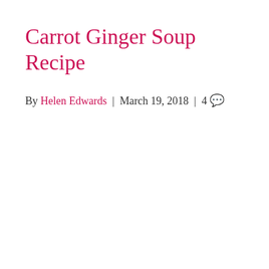Carrot Ginger Soup Recipe
By Helen Edwards  |  March 19, 2018  |  4 💬